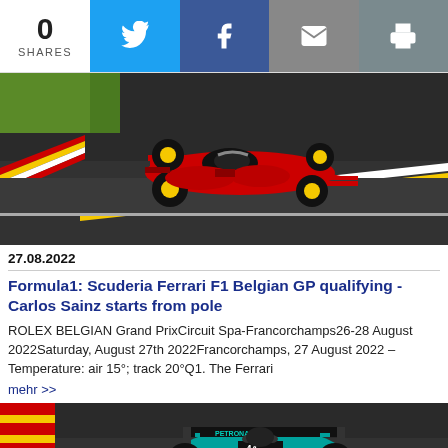0 SHARES
[Figure (photo): Ferrari F1 car on Spa-Francorchamps circuit with colorful kerbs]
27.08.2022
Formula1: Scuderia Ferrari F1 Belgian GP qualifying - Carlos Sainz starts from pole
ROLEX BELGIAN Grand PrixCircuit Spa-Francorchamps26-28 August 2022Saturday, August 27th 2022Francorchamps, 27 August 2022 – Temperature: air 15°; track 20°Q1. The Ferrari
mehr >>
[Figure (photo): Mercedes Petronas F1 car rear view with Catalan flag barrier]